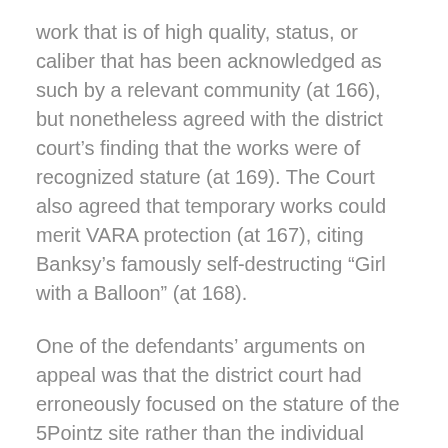work that is of high quality, status, or caliber that has been acknowledged as such by a relevant community (at 166), but nonetheless agreed with the district court's finding that the works were of recognized stature (at 169). The Court also agreed that temporary works could merit VARA protection (at 167), citing Banksy's famously self-destructing “Girl with a Balloon” (at 168).
One of the defendants’ arguments on appeal was that the district court had erroneously focused on the stature of the 5Pointz site rather than the individual works in issue. The Second Circuit disagreed that this was the case, but also noted that the site of a work is relevant to its recognition and stature and may, in certain